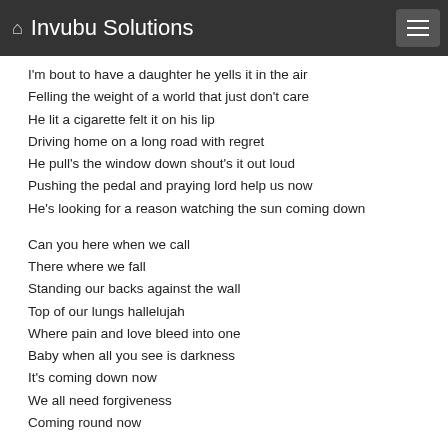Invubu Solutions
I'm bout to have a daughter he yells it in the air
Felling the weight of a world that just don't care
He lit a cigarette felt it on his lip
Driving home on a long road with regret
He pull's the window down shout's it out loud
Pushing the pedal and praying lord help us now
He's looking for a reason watching the sun coming down

Can you here when we call
There where we fall
Standing our backs against the wall
Top of our lungs hallelujah
Where pain and love bleed into one
Baby when all you see is darkness
It's coming down now
We all need forgiveness
Coming round now